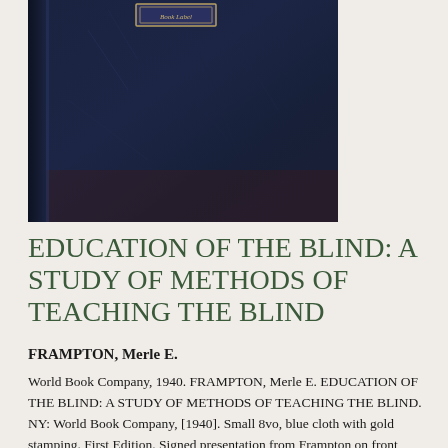[Figure (photo): Photograph of a dark navy blue book cover with gold stamping, showing wear and scratches. The book appears to be a hardcover with a small decorative label at the top center.]
EDUCATION OF THE BLIND: A STUDY OF METHODS OF TEACHING THE BLIND
FRAMPTON, Merle E.
World Book Company, 1940. FRAMPTON, Merle E. EDUCATION OF THE BLIND: A STUDY OF METHODS OF TEACHING THE BLIND. NY: World Book Company, [1940]. Small 8vo, blue cloth with gold stamping. First Edition. Signed presentation from Frampton on front endpaper: "To Wooley who shares a mutual field